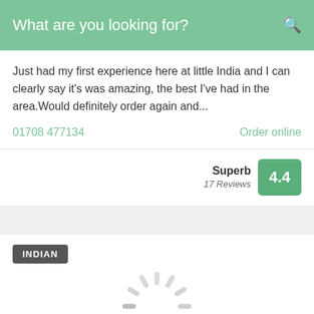What are you looking for?
Just had my first experience here at little India and I can clearly say it's was amazing, the best I've had in the area.Would definitely order again and...
01708 477134
Order online
Superb
17 Reviews
4.4
INDIAN
[Figure (other): Loading spinner graphic]